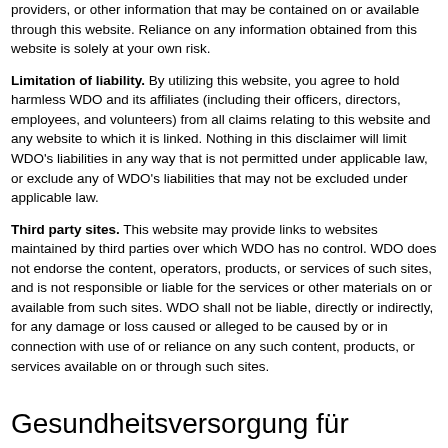providers, or other information that may be contained on or available through this website.  Reliance on any information obtained from this website is solely at your own risk.
Limitation of liability. By utilizing this website, you agree to hold harmless WDO and its affiliates (including their officers, directors, employees, and volunteers) from all claims relating to this website and any website to which it is linked.  Nothing in this disclaimer will limit WDO's liabilities in any way that is not permitted under applicable law, or exclude any of WDO's liabilities that may not be excluded under applicable law.
Third party sites. This website may provide links to websites maintained by third parties over which WDO has no control.  WDO does not endorse the content, operators, products, or services of such sites, and is not responsible or liable for the services or other materials on or available from such sites.  WDO shall not be liable, directly or indirectly, for any damage or loss caused or alleged to be caused by or in connection with use of or reliance on any such content, products, or services available on or through such sites.
Gesundheitsversorgung für Berufsmusiker - Fachkundige Beratung